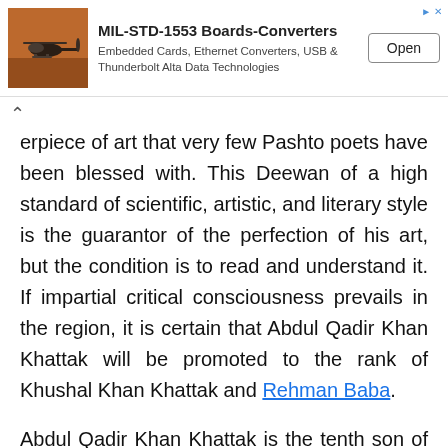[Figure (other): Advertisement banner for MIL-STD-1553 Boards-Converters by Alta Data Technologies, showing a helicopter image, product title, subtitle text, and an Open button.]
erpiece of art that very few Pashto poets have been blessed with. This Deewan of a high standard of scientific, artistic, and literary style is the guarantor of the perfection of his art, but the condition is to read and understand it. If impartial critical consciousness prevails in the region, it is certain that Abdul Qadir Khan Khattak will be promoted to the rank of Khushal Khan Khattak and Rehman Baba.
Abdul Qadir Khan Khattak is the tenth son of Khushal Khan Khattak. He was born in November 1653 in his village Akora Khattak. He was a great poet, writer, and scholar as well as a great soldier. He was a first son i